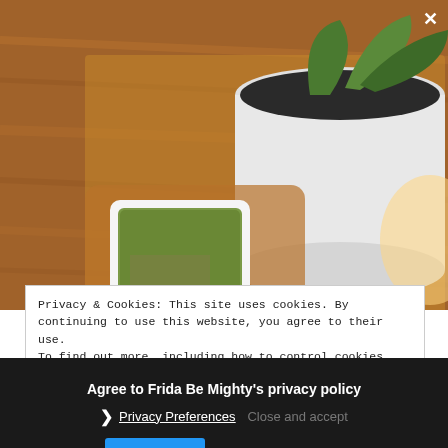[Figure (photo): Overhead view of a wooden table with a white potted plant containing dark soil and green leaves in the upper right, a small framed photo/artwork on a wooden tray in the lower left, and warm ambient light on the right side.]
Privacy & Cookies: This site uses cookies. By continuing to use this website, you agree to their use.
To find out more, including how to control cookies, see here: Cookie Policy
Agree to Frida Be Mighty's privacy policy
› Privacy Preferences   Close and accept